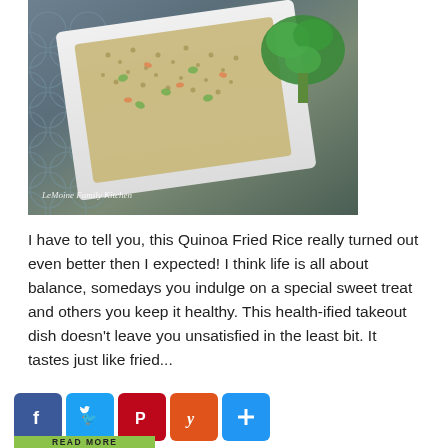[Figure (photo): A white rectangular plate filled with quinoa fried rice containing edamame, carrots, and other vegetables, with broccoli on the side, placed on a blue geometric patterned surface. Watermark reads 'LeMoine Family Kitchen'.]
I have to tell you, this Quinoa Fried Rice really turned out even better then I expected! I think life is all about balance, somedays you indulge on a special sweet treat and others you keep it healthy. This health-ified takeout dish doesn't leave you unsatisfied in the least bit. It tastes just like fried...
[Figure (other): Social sharing buttons row: Facebook (blue), Twitter (light blue), Pinterest (red), Yummly (orange), Share/Add (blue). Read More label below in green bar.]